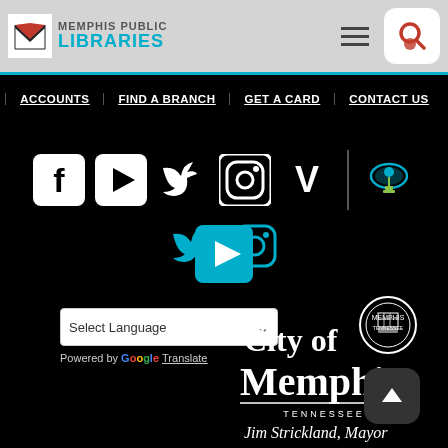Memphis Public Libraries
ACCOUNTS
FIND A BRANCH
GET A CARD
CONTACT US
[Figure (logo): Social media icons: Facebook, YouTube, Twitter, Instagram, Vimeo, separator, then group with lightbulb/chess icon, Twitter, Instagram, YouTube]
Select Language
Powered by Google Translate
[Figure (logo): City of Memphis Tennessee - Jim Strickland, Mayor logo with seal]